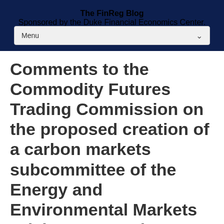The FinReg Blog
Sponsored by the Duke Financial Economics Center.
Comments to the Commodity Futures Trading Commission on the proposed creation of a carbon markets subcommittee of the Energy and Environmental Markets Advisory Committee
September 23, 2021